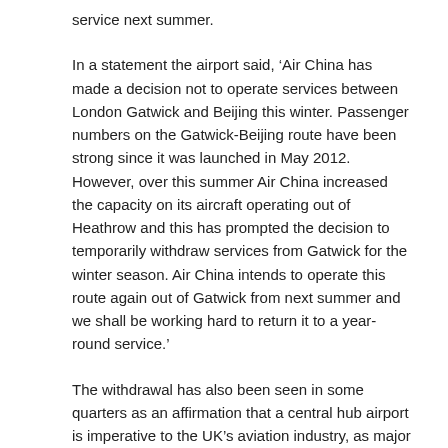service next summer.
In a statement the airport said, ‘Air China has made a decision not to operate services between London Gatwick and Beijing this winter. Passenger numbers on the Gatwick-Beijing route have been strong since it was launched in May 2012. However, over this summer Air China increased the capacity on its aircraft operating out of Heathrow and this has prompted the decision to temporarily withdraw services from Gatwick for the winter season. Air China intends to operate this route again out of Gatwick from next summer and we shall be working hard to return it to a year-round service.’
The withdrawal has also been seen in some quarters as an affirmation that a central hub airport is imperative to the UK’s aviation industry, as major airlines find these more practical to operate from than separate airports.
Daniel Moylan, aviation adviser to London mayor, Boris Johnson, was quoted in the Telegraph, saying, ‘London and the UK economy need a proper, well-functioning hub airport with room for growth. No amount of pretending that is not so is going to give Britain the sort of infrastructure it needs.’